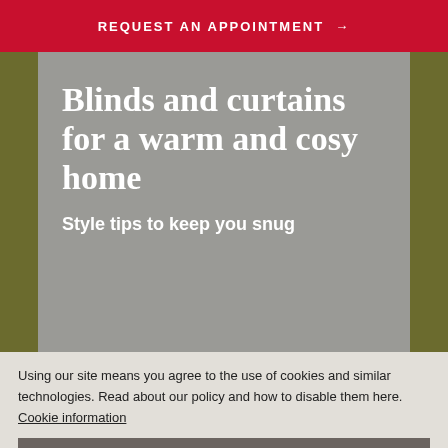REQUEST AN APPOINTMENT →
Blinds and curtains for a warm and cosy home
Style tips to keep you snug
Using our site means you agree to the use of cookies and similar technologies. Read about our policy and how to disable them here. Cookie information
CLOSE